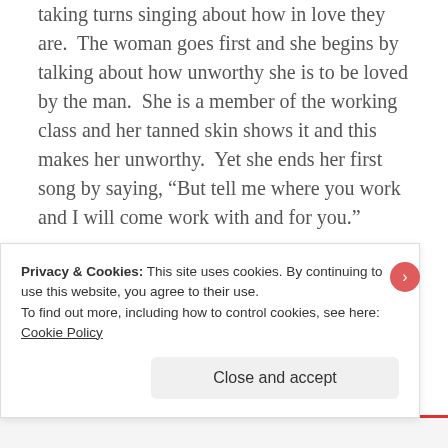taking turns singing about how in love they are.  The woman goes first and she begins by talking about how unworthy she is to be loved by the man.  She is a member of the working class and her tanned skin shows it and this makes her unworthy.  Yet she ends her first song by saying, “But tell me where you work and I will come work with and for you."
The friends watch this whole romance from the sidelines and their first reply to her is, “Follow the mother of him home”. That
Privacy & Cookies: This site uses cookies. By continuing to use this website, you agree to their use.
To find out more, including how to control cookies, see here: Cookie Policy